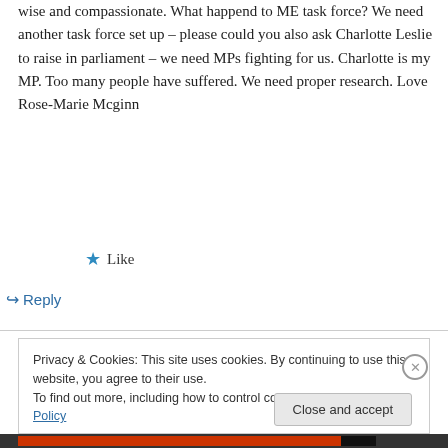wise and compassionate. What happend to ME task force? We need another task force set up – please could you also ask Charlotte Leslie to raise in parliament – we need MPs fighting for us. Charlotte is my MP. Too many people have suffered. We need proper research. Love Rose-Marie Mcginn
★ Like
↪ Reply
Privacy & Cookies: This site uses cookies. By continuing to use this website, you agree to their use.
To find out more, including how to control cookies, see here: Cookie Policy
Close and accept